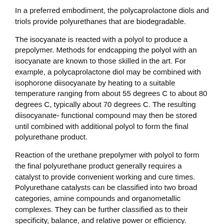In a preferred embodiment, the polycaprolactone diols and triols provide polyurethanes that are biodegradable.
The isocyanate is reacted with a polyol to produce a prepolymer. Methods for endcapping the polyol with an isocyanate are known to those skilled in the art. For example, a polycaprolactone diol may be combined with isophorone diisocyanate by heating to a suitable temperature ranging from about 55 degrees C to about 80 degrees C, typically about 70 degrees C. The resulting diisocyanate- functional compound may then be stored until combined with additional polyol to form the final polyurethane product.
Reaction of the urethane prepolymer with polyol to form the final polyurethane product generally requires a catalyst to provide convenient working and cure times. Polyurethane catalysts can be classified into two broad categories, amine compounds and organometallic complexes. They can be further classified as to their specificity, balance, and relative power or efficiency.
Traditional amine catalysts have been tertiary amines such